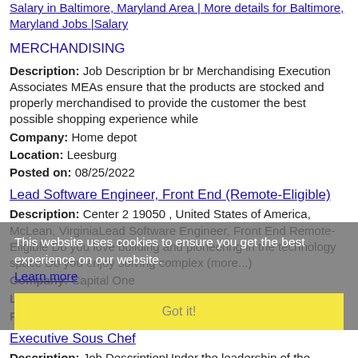Salary in Baltimore, Maryland Area | More details for Baltimore, Maryland Jobs |Salary
MERCHANDISING
Description: Job Description br br Merchandising Execution Associates MEAs ensure that the products are stocked and properly merchandised to provide the customer the best possible shopping experience while
Company: Home depot
Location: Leesburg
Posted on: 08/25/2022
Lead Software Engineer, Front End (Remote-Eligible)
Description: Center 2 19050 , United States of America, McLean, VirginiaLead Software Engineer, Front End Remote-Eligible Do you love building and pioneering in the technology space Do you enjoy solving complex (more...)
Company: Capital One
Location: Leesburg
Posted on: 08/25/2022
Executive Sous Chef
Description: Job DescriptionUnder the leadership of the Executive Chef and acting in his/her absence, the Executive Sous Chef is in
This website uses cookies to ensure you get the best experience on our website.
Learn more
Got it!